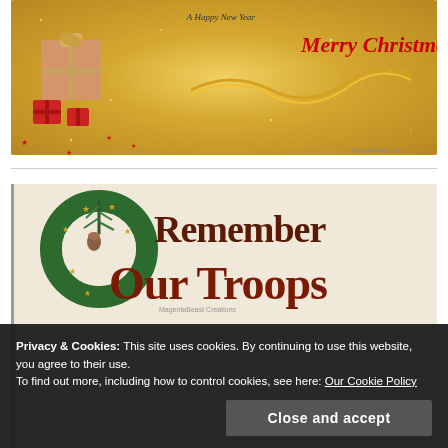[Figure (photo): Christmas greeting image with gold glittery background, red gift boxes, gold ribbons, red stars, and text saying 'A Happy New Year' and 'Merry Christmas' in red cursive font]
[Figure (illustration): Christmas wreath with pine branches, pine cone, gold stars, and large brown text reading 'Remember Our Troops']
Privacy & Cookies: This site uses cookies. By continuing to use this website, you agree to their use.
To find out more, including how to control cookies, see here: Our Cookie Policy
Close and accept